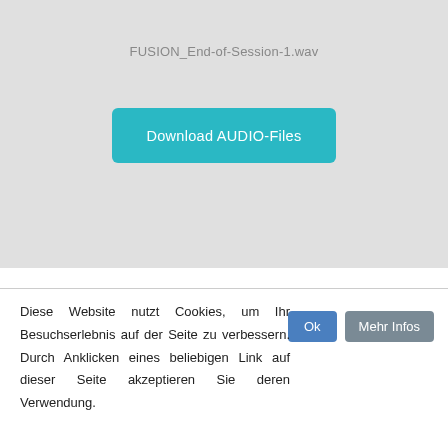FUSION_End-of-Session-1.wav
[Figure (other): A teal/cyan button labeled 'Download AUDIO-Files' on a light gray background]
Diese Website nutzt Cookies, um Ihr Besuchserlebnis auf der Seite zu verbessern. Durch Anklicken eines beliebigen Link auf dieser Seite akzeptieren Sie deren Verwendung.